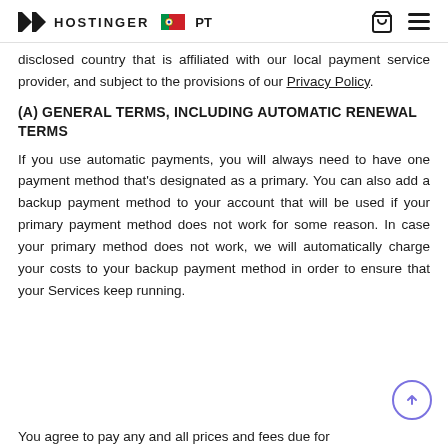HOSTINGER PT
disclosed country that is affiliated with our local payment service provider, and subject to the provisions of our Privacy Policy.
(A) GENERAL TERMS, INCLUDING AUTOMATIC RENEWAL TERMS
If you use automatic payments, you will always need to have one payment method that's designated as a primary. You can also add a backup payment method to your account that will be used if your primary payment method does not work for some reason. In case your primary method does not work, we will automatically charge your costs to your backup payment method in order to ensure that your Services keep running.
You agree to pay any and all prices and fees due for